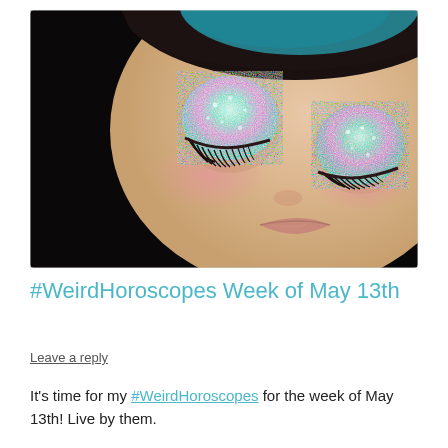[Figure (photo): Close-up photo of a Blythe doll face with large glittery teal/mint eyelids with pink shimmer, long dark eyelashes, rosy cheeks, and slightly parted lips. The background is dark/black on the left side.]
#WeirdHoroscopes Week of May 13th
Leave a reply
It's time for my #WeirdHoroscopes for the week of May 13th! Live by them.